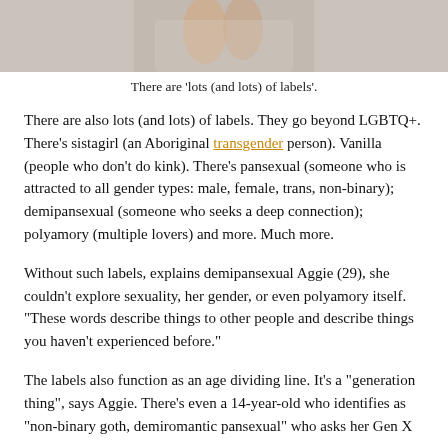[Figure (photo): A cropped photo showing two people embracing, torsos and arms visible, wearing light-coloured clothing. The image is partially cut off at the top.]
There are ‘lots (and lots) of labels’.
There are also lots (and lots) of labels. They go beyond LGBTQ+. There’s sistagirl (an Aboriginal transgender person). Vanilla (people who don’t do kink). There’s pansexual (someone who is attracted to all gender types: male, female, trans, non-binary); demipansexual (someone who seeks a deep connection); polyamory (multiple lovers) and more. Much more.
Without such labels, explains demipansexual Aggie (29), she couldn’t explore sexuality, her gender, or even polyamory itself. “These words describe things to other people and describe things you haven’t experienced before.”
The labels also function as an age dividing line. It’s a “generation thing”, says Aggie. There’s even a 14-year-old who identifies as “non-binary goth, demiromantic pansexual” who asks her Gen X parents how they identify. “I just identify as...